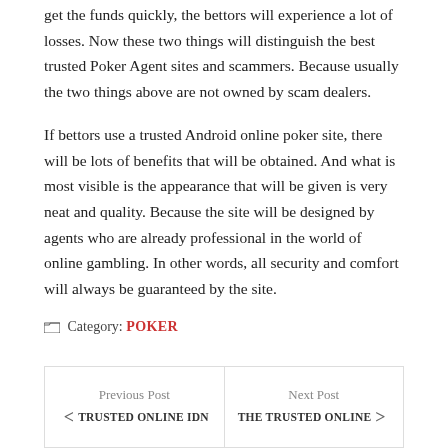get the funds quickly, the bettors will experience a lot of losses. Now these two things will distinguish the best trusted Poker Agent sites and scammers. Because usually the two things above are not owned by scam dealers.
If bettors use a trusted Android online poker site, there will be lots of benefits that will be obtained. And what is most visible is the appearance that will be given is very neat and quality. Because the site will be designed by agents who are already professional in the world of online gambling. In other words, all security and comfort will always be guaranteed by the site.
Category: POKER
Previous Post
< TRUSTED ONLINE IDN
Next Post
THE TRUSTED ONLINE >